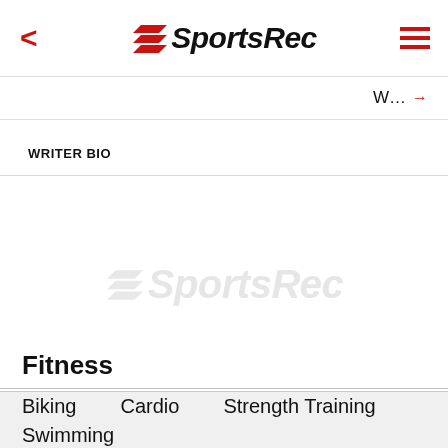< SportsRec ≡
W... →
WRITER BIO
[Figure (logo): SportsRec watermark logo in light gray]
Fitness
Biking
Cardio
Strength Training
Swimming